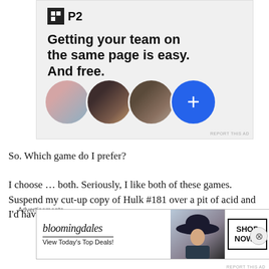[Figure (screenshot): P2 advertisement banner with logo, headline 'Getting your team on the same page is easy. And free.' and three user avatar photos plus a blue plus button]
So. Which game do I prefer?
I choose … both. Seriously, I like both of these games. Suspend my cut-up copy of Hulk #181 over a pit of acid and I'd have to pick the DC game, but there is room for
Advertisements
[Figure (screenshot): Bloomingdale's advertisement: 'bloomingdales View Today's Top Deals!' with woman in hat photo and SHOP NOW > button]